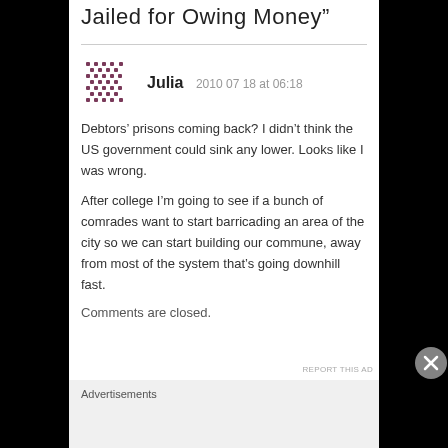Jailed for Owing Money”
Julia 2010 07 18 at 06:18
Debtors’ prisons coming back? I didn’t think the US government could sink any lower. Looks like I was wrong.
After college I’m going to see if a bunch of comrades want to start barricading an area of the city so we can start building our commune, away from most of the system that’s going downhill fast.
Comments are closed.
Advertisements